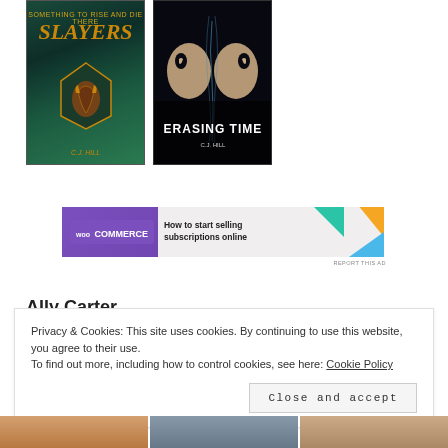[Figure (photo): Book cover: SLAYERS by C.J. Hill — dark teal/green fantasy cover with gold dragon emblem and golden title text]
[Figure (photo): Book cover: ERASING TIME by C.J. Hill — dark cover with two mirrored female faces and white title text]
[Figure (other): WooCommerce advertisement banner: 'How to start selling subscriptions online']
REPORT THIS AD
Ally Carter
Privacy & Cookies: This site uses cookies. By continuing to use this website, you agree to their use.
To find out more, including how to control cookies, see here: Cookie Policy
Close and accept
[Figure (photo): Bottom strip showing partial book covers]